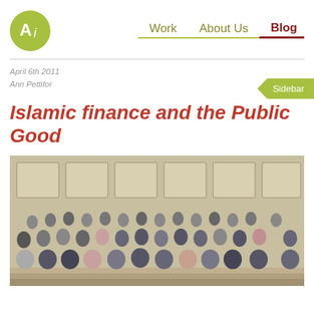[Figure (logo): Ai logo - green circle with white 'Ai' text]
Work   About Us   Blog
April 6th 2011
Ann Pettifor
Islamic finance and the Public Good
[Figure (photo): Group photo of approximately 30-35 people standing in front of a stone building with large windows, formal attire, multiple rows]